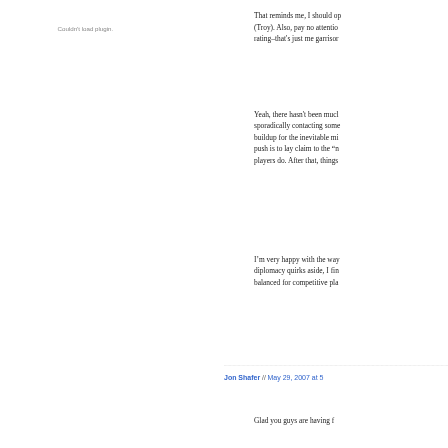Couldn't load plugin.
That reminds me, I should op (Troy). Also, pay no attentio rating–that's just me garrisor
Yeah, there hasn't been mucl sporadically contacting some buildup for the inevitable mi push is to lay claim to the “n players do. After that, things
I’m very happy with the way diplomacy quirks aside, I fin balanced for competitive pla
Jon Shafer // May 29, 2007 at 5
Glad you guys are having f